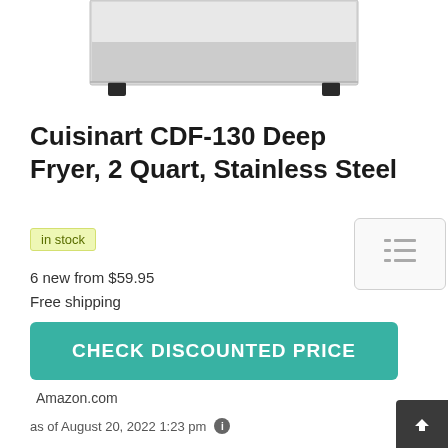[Figure (photo): Bottom portion of a Cuisinart CDF-130 Deep Fryer in stainless steel, showing the base and feet of the appliance against a white background]
Cuisinart CDF-130 Deep Fryer, 2 Quart, Stainless Steel
in stock
6 new from $59.95
Free shipping
CHECK DISCOUNTED PRICE
Amazon.com
as of August 20, 2022 1:23 pm